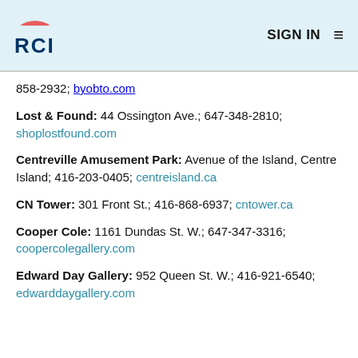RCI | SIGN IN
858-2932; byobto.com
Lost & Found: 44 Ossington Ave.; 647-348-2810; shoplostfound.com
Centreville Amusement Park: Avenue of the Island, Centre Island; 416-203-0405; centreisland.ca
CN Tower: 301 Front St.; 416-868-6937; cntower.ca
Cooper Cole: 1161 Dundas St. W.; 647-347-3316; coopercolegallery.com
Edward Day Gallery: 952 Queen St. W.; 416-921-6540; edwarddaygallery.com